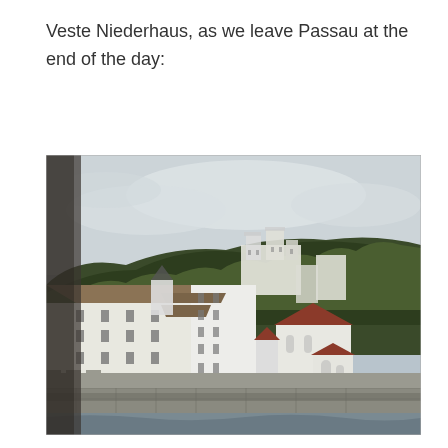Veste Niederhaus, as we leave Passau at the end of the day:
[Figure (photo): Photograph of Veste Niederhaus fortress and surrounding buildings in Passau, taken from the water. White castle buildings and a church with a red roof are visible in the foreground, with a wooded hillside and Veste Oberhaus fortress visible in the background. Stone walls along the river are in the lower portion of the image.]